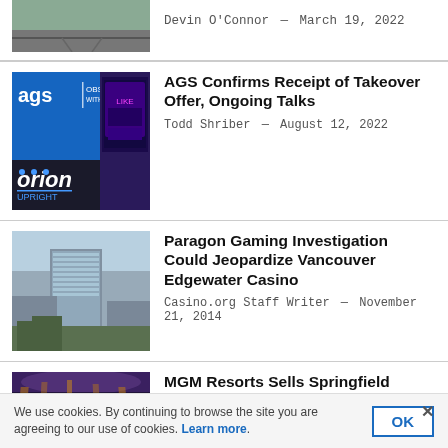[Figure (photo): Partial road/street scene thumbnail at top]
Devin O'Connor — March 19, 2022
[Figure (photo): AGS branding image with slot machine and Orion Upright logo]
AGS Confirms Receipt of Takeover Offer, Ongoing Talks
Todd Shriber — August 12, 2022
[Figure (photo): Architectural rendering of Vancouver Edgewater Casino / Paragon Gaming building]
Paragon Gaming Investigation Could Jeopardize Vancouver Edgewater Casino
Casino.org Staff Writer — November 21, 2014
[Figure (photo): MGM Springfield Casino interior with slot machines and decorative lighting]
MGM Resorts Sells Springfield Casino Real Estate to MGP for $400M
Todd Shriber — May 12, 2021
We use cookies. By continuing to browse the site you are agreeing to our use of cookies. Learn more.